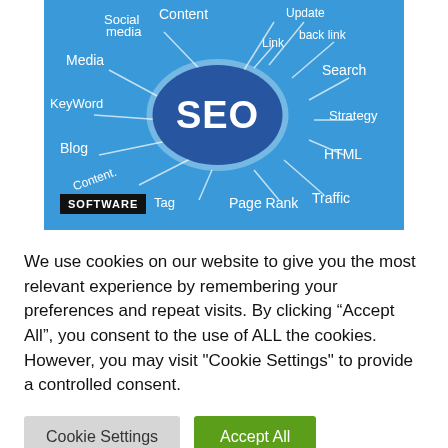[Figure (illustration): SEO mind-map illustration on blue background. Central cloud bubble with 'SEO' text in white on dark blue. Surrounding handwritten labels connected by lines: Content, Social media, Media, Keyword, Blog, Content, Tag, Page Rank, Traffic, HTML, Strategy, Search, Back link, Update, Link. A black badge at bottom-left reads 'SOFTWARE'.]
We use cookies on our website to give you the most relevant experience by remembering your preferences and repeat visits. By clicking “Accept All”, you consent to the use of ALL the cookies. However, you may visit "Cookie Settings" to provide a controlled consent.
Cookie Settings
Accept All